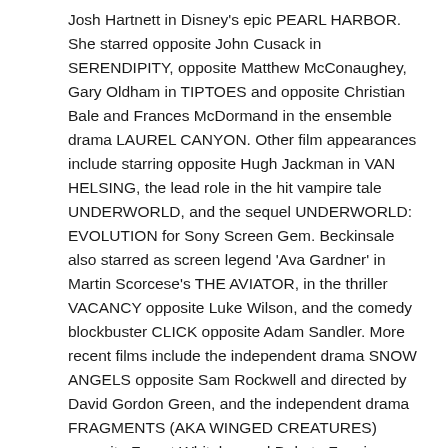Josh Hartnett in Disney's epic PEARL HARBOR. She starred opposite John Cusack in SERENDIPITY, opposite Matthew McConaughey, Gary Oldham in TIPTOES and opposite Christian Bale and Frances McDormand in the ensemble drama LAUREL CANYON. Other film appearances include starring opposite Hugh Jackman in VAN HELSING, the lead role in the hit vampire tale UNDERWORLD, and the sequel UNDERWORLD: EVOLUTION for Sony Screen Gem. Beckinsale also starred as screen legend 'Ava Gardner' in Martin Scorcese's THE AVIATOR, in the thriller VACANCY opposite Luke Wilson, and the comedy blockbuster CLICK opposite Adam Sandler. More recent films include the independent drama SNOW ANGELS opposite Sam Rockwell and directed by David Gordon Green, and the independent drama FRAGMENTS (AKA WINGED CREATURES) opposite Forest Whitaker and Dakota Fanning.